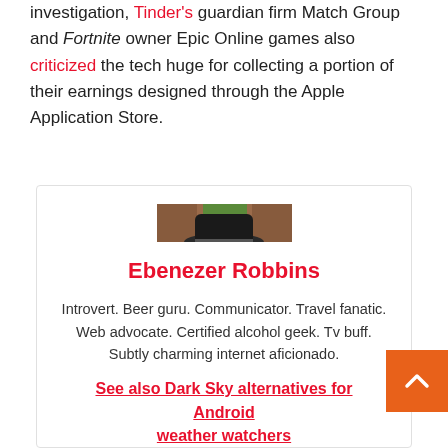investigation, Tinder's guardian firm Match Group and Fortnite owner Epic Online games also criticized the tech huge for collecting a portion of their earnings designed through the Apple Application Store.
[Figure (photo): Portrait photo of a young man wearing a black fedora hat, smiling, with a brown blurred background.]
Ebenezer Robbins
Introvert. Beer guru. Communicator. Travel fanatic. Web advocate. Certified alcohol geek. Tv buff. Subtly charming internet aficionado.
See also Dark Sky alternatives for Android weather watchers